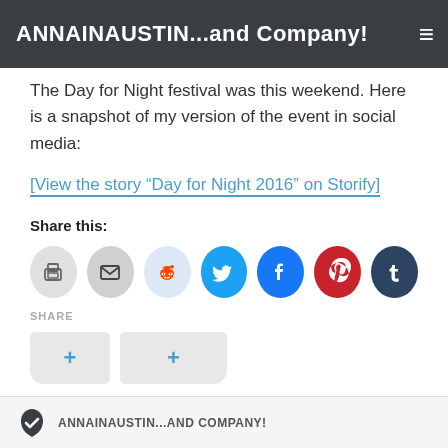ANNAINAUSTIN...and Company!
The Day for Night festival was this weekend. Here is a snapshot of my version of the event in social media:
[View the story “Day for Night 2016” on Storify]
Share this:
[Figure (infographic): Row of social media share icon buttons: print, email, Reddit, Twitter, Facebook, Pinterest, Tumblr]
SHARE
[Figure (infographic): Two share/add buttons with plus signs]
ANNAINAUSTIN...and Company!